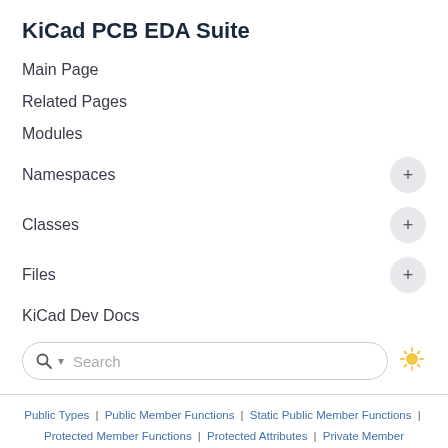KiCad PCB EDA Suite
Main Page
Related Pages
Modules
Namespaces
Classes
Files
KiCad Dev Docs
Search
Public Types | Public Member Functions | Static Public Member Functions | Protected Member Functions | Protected Attributes | Private Member Functions |
DIALOG_CONSTRAINTS_REPORTER_BASE